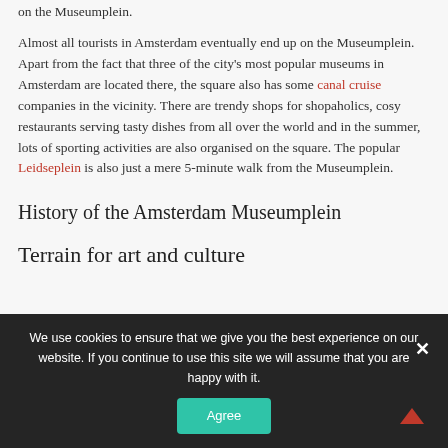on the Museumplein.
Almost all tourists in Amsterdam eventually end up on the Museumplein. Apart from the fact that three of the city’s most popular museums in Amsterdam are located there, the square also has some canal cruise companies in the vicinity. There are trendy shops for shopaholics, cosy restaurants serving tasty dishes from all over the world and in the summer, lots of sporting activities are also organised on the square. The popular Leidseplein is also just a mere 5-minute walk from the Museumplein.
History of the Amsterdam Museumplein
Terrain for art and culture
We use cookies to ensure that we give you the best experience on our website. If you continue to use this site we will assume that you are happy with it.